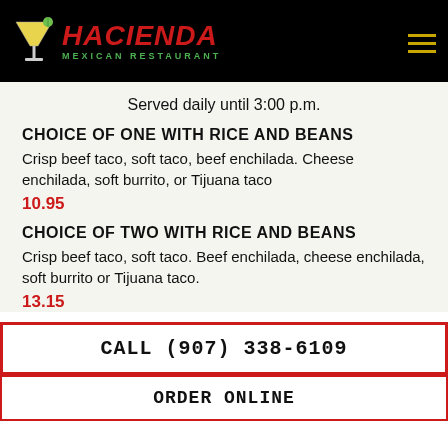[Figure (logo): Hacienda Mexican Restaurant logo with margarita glass on black header bar]
Served daily until 3:00 p.m.
CHOICE OF ONE WITH RICE AND BEANS
Crisp beef taco, soft taco, beef enchilada. Cheese enchilada, soft burrito, or Tijuana taco
10.95
CHOICE OF TWO WITH RICE AND BEANS
Crisp beef taco, soft taco. Beef enchilada, cheese enchilada, soft burrito or Tijuana taco.
13.15
CALL (907) 338-6109
ORDER ONLINE